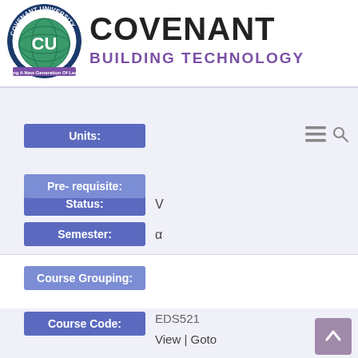[Figure (logo): Covenant University circular logo with globe and green 'CU' emblem, text 'COVENANT UNIVERSITY' around the top, ribbon at bottom reading 'Raising A New Generation Of Leaders']
COVENANT
BUILDING TECHNOLOGY
Status: V
Units:
Pre- requisite:
Semester: α
Course Grouping:
Course Code: EDS521
View | Goto